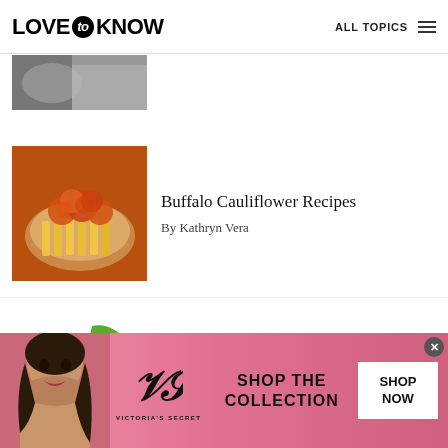LOVE to KNOW — ALL TOPICS
[Figure (photo): Partial thumbnail of food item, cropped at top]
Buffalo Cauliflower Recipes
By Kathryn Vera
[Figure (photo): Photo of buffalo cauliflower with fries on a plate]
List of Hottest Peppers
By Karen Frazier
[Figure (photo): Photo of various colorful hot peppers on white background]
[Figure (photo): Victoria's Secret advertisement banner with model, VS logo, SHOP THE COLLECTION text, and SHOP NOW button]